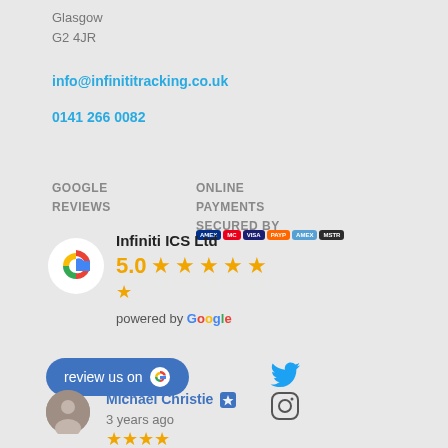Glasgow
G2 4JR
info@infinititracking.co.uk
0141 266 0082
GOOGLE REVIEWS
ONLINE PAYMENTS SECURED BY
[Figure (infographic): Google Reviews widget showing Infiniti ICS Ltd with 5.0 star rating, powered by Google, with review us on button]
[Figure (logo): Twitter bird icon]
[Figure (infographic): Michael Christie review with 5 stars, 3 years ago, with Instagram icon]
[Figure (logo): Payment method badges (various card types)]